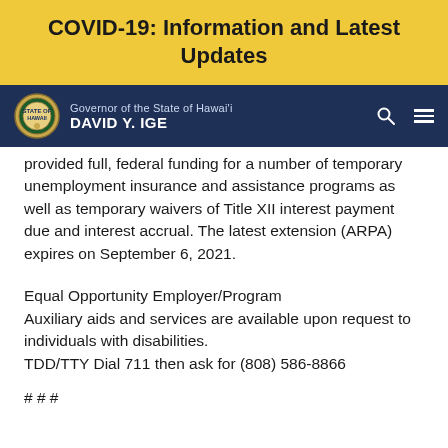COVID-19: Information and Latest Updates
Governor of the State of Hawai'i DAVID Y. IGE
provided full, federal funding for a number of temporary unemployment insurance and assistance programs as well as temporary waivers of Title XII interest payment due and interest accrual. The latest extension (ARPA) expires on September 6, 2021.
Equal Opportunity Employer/Program Auxiliary aids and services are available upon request to individuals with disabilities. TDD/TTY Dial 711 then ask for (808) 586-8866
# # #